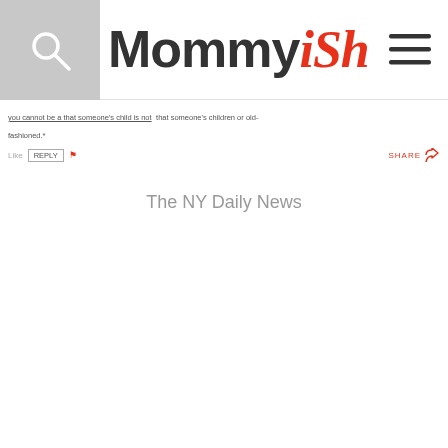Mommyish
fashioned.*
Like  REPLY  🚩  SHARE
The NY Daily News